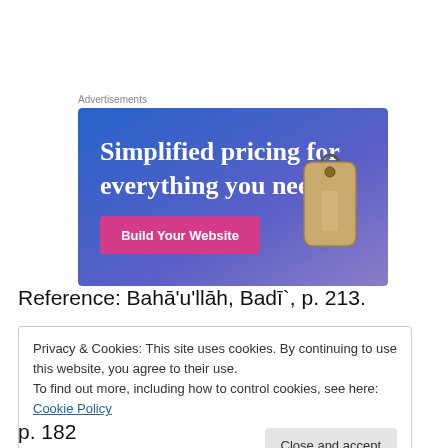Advertisements
[Figure (illustration): Advertisement banner with gradient blue-purple background, text 'Simplified pricing for everything you need.' in large white serif font, a pink 'Build Your Website' button, and a decorative price tag image on the right.]
Reference: Bahā'u'llāh, Badī`, p. 213.
Privacy & Cookies: This site uses cookies. By continuing to use this website, you agree to their use.
To find out more, including how to control cookies, see here: Cookie Policy
p. 182